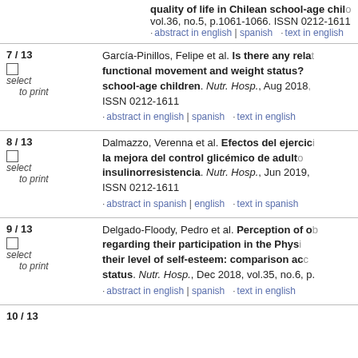quality of life in Chilean school-age children. vol.36, no.5, p.1061-1066. ISSN 0212-1611
· abstract in english | spanish · text in english
7 / 13
select to print
García-Pinillos, Felipe et al. Is there any relationship between functional movement and weight status? A study on school-age children. Nutr. Hosp., Aug 2018, ISSN 0212-1611 · abstract in english | spanish · text in english
8 / 13
select to print
Dalmazzo, Verenna et al. Efectos del ejercicio físico en la mejora del control glicémico de adultos con insulinorresistencia. Nutr. Hosp., Jun 2019, ISSN 0212-1611 · abstract in spanish | english · text in spanish
9 / 13
select to print
Delgado-Floody, Pedro et al. Perception of obesity regarding their participation in the Physical Education and their level of self-esteem: comparison according to nutritional status. Nutr. Hosp., Dec 2018, vol.35, no.6, p. · abstract in english | spanish · text in english
10 / 13